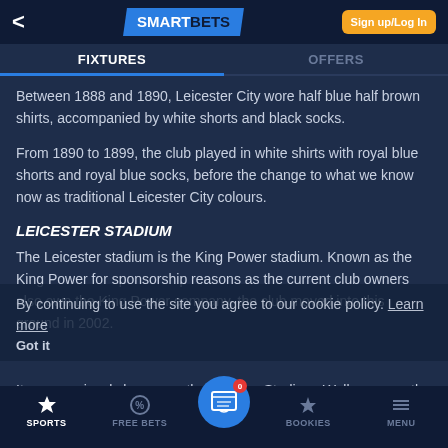SMARTBETS | Sign up/Log In
FIXTURES | OFFERS
Between 1888 and 1890, Leicester City wore half blue half brown shirts, accompanied by white shorts and black socks.
From 1890 to 1899, the club played in white shirts with royal blue shorts and royal blue socks, before the change to what we know now as traditional Leicester City colours.
LEICESTER STADIUM
The Leicester stadium is the King Power stadium. Known as the King Power for sponsorship reasons as the current club owners also own the King Power company, the club moved into this ground in 2002.
By continuing to use the site you agree to our cookie policy. Learn more
It was previously known as the Walkers Stadium. Walkers were the sponsors of the Leicester City ki... signed a sponsorship deal to
SPORTS | FREE BETS | BOOKIES | MENU